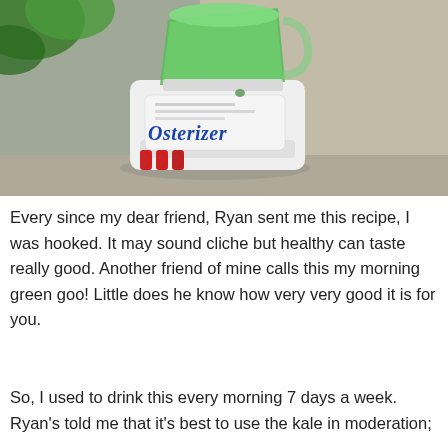[Figure (photo): Photograph of an Osterizer blender filled with green smoothie (kale/green goo), sitting on a kitchen counter. The blender jar contains bright green liquid. The Osterizer brand name is visible in blue italic script on the white blender base. Red blender speed buttons are visible at the bottom left of the base.]
Every since my dear friend, Ryan sent me this recipe, I was hooked. It may sound cliche but healthy can taste really good. Another friend of mine calls this my morning green goo! Little does he know how very very good it is for you.
So, I used to drink this every morning 7 days a week. Ryan's told me that it's best to use the kale in moderation;